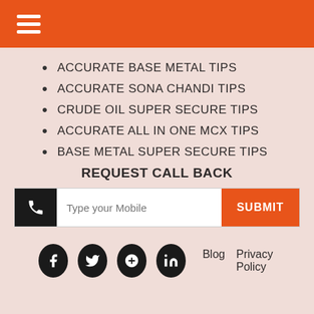Navigation menu header bar
ACCURATE BASE METAL TIPS
ACCURATE SONA CHANDI TIPS
CRUDE OIL SUPER SECURE TIPS
ACCURATE ALL IN ONE MCX TIPS
BASE METAL SUPER SECURE TIPS
REQUEST CALL BACK
[Figure (other): Mobile number input form with phone icon, text field placeholder 'Type your Mobile', and orange SUBMIT button]
Social media icons (Facebook, Twitter, Google+, LinkedIn) | Blog | Privacy Policy